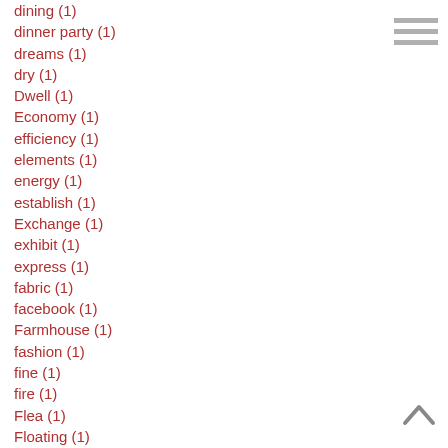dining (1)
dinner party (1)
dreams (1)
dry (1)
Dwell (1)
Economy (1)
efficiency (1)
elements (1)
energy (1)
establish (1)
Exchange (1)
exhibit (1)
express (1)
fabric (1)
facebook (1)
Farmhouse (1)
fashion (1)
fine (1)
fire (1)
Flea (1)
Floating (1)
Floor (1)
fried (1)
Geometric (1)